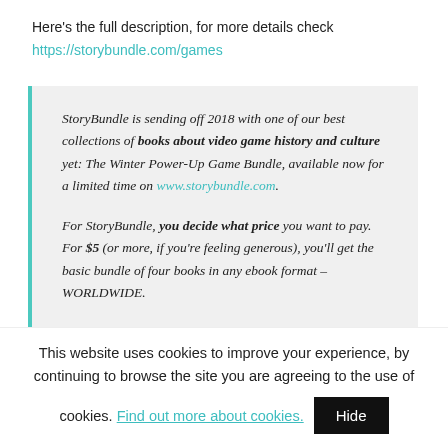Here's the full description, for more details check
https://storybundle.com/games
StoryBundle is sending off 2018 with one of our best collections of books about video game history and culture yet: The Winter Power-Up Game Bundle, available now for a limited time on www.storybundle.com.
For StoryBundle, you decide what price you want to pay. For $5 (or more, if you're feeling generous), you'll get the basic bundle of four books in any ebook format – WORLDWIDE.
The Game Beat by Kyle Orland
This website uses cookies to improve your experience, by continuing to browse the site you are agreeing to the use of cookies. Find out more about cookies.